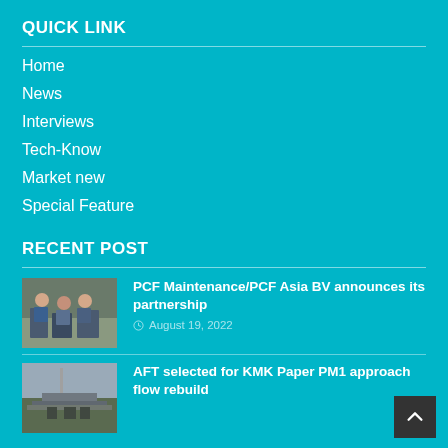QUICK LINK
Home
News
Interviews
Tech-Know
Market new
Special Feature
RECENT POST
[Figure (photo): Group of people in a workplace setting]
PCF Maintenance/PCF Asia BV announces its partnership
August 19, 2022
[Figure (photo): Aerial/cityscape view with industrial structures]
AFT selected for KMK Paper PM1 approach flow rebuild